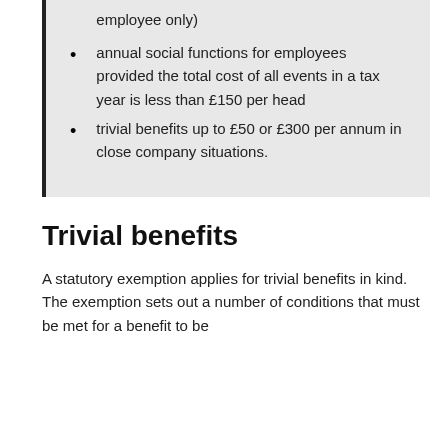employee only)
annual social functions for employees provided the total cost of all events in a tax year is less than £150 per head
trivial benefits up to £50 or £300 per annum in close company situations.
Trivial benefits
A statutory exemption applies for trivial benefits in kind. The exemption sets out a number of conditions that must be met for a benefit to be